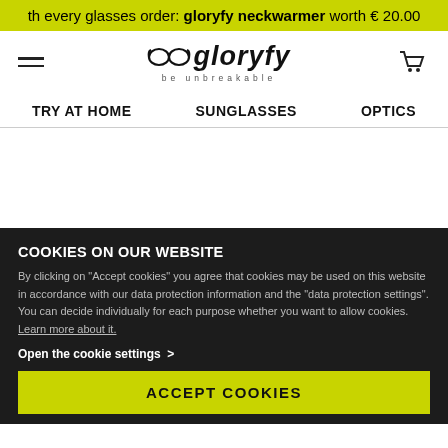th every glasses order: gloryfy neckwarmer worth € 20.00
[Figure (logo): Gloryfy logo with goggles icon and 'be unbreakable' tagline, hamburger menu and cart icon]
TRY AT HOME   SUNGLASSES   OPTICS
COOKIES ON OUR WEBSITE
By clicking on "Accept cookies" you agree that cookies may be used on this website in accordance with our data protection information and the "data protection settings". You can decide individually for each purpose whether you want to allow cookies. Learn more about it.
Open the cookie settings  >
ACCEPT COOKIES